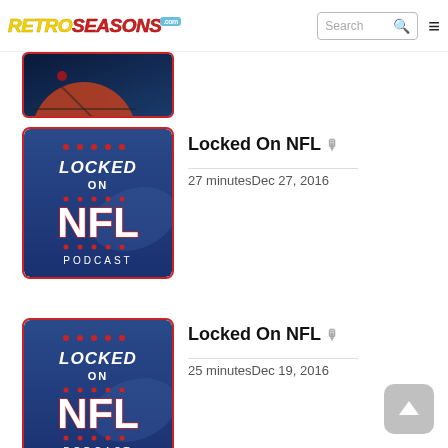RetroSeasons.com
[Figure (screenshot): Partial view of a sports image (basketball-themed), cropped at top]
[Figure (logo): Locked On NFL Podcast thumbnail - blue background with LOCKED ON NFL PODCAST text in white and red]
Locked On NFL
27 minutesDec 27, 2016
[Figure (logo): Locked On NFL Podcast thumbnail - blue background with LOCKED ON NFL PODCAST text in white and red]
Locked On NFL
25 minutesDec 19, 2016